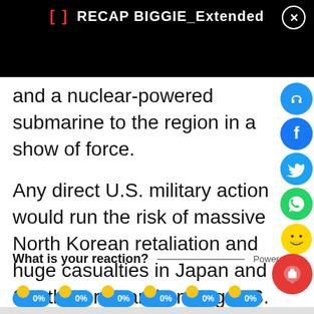RECAP BIGGIE_Extended
and a nuclear-powered submarine to the region in a show of force.
Any direct U.S. military action would run the risk of massive North Korean retaliation and huge casualties in Japan and South Korea and among U.S. forces in both countries.
What is your reaction?    Powered by